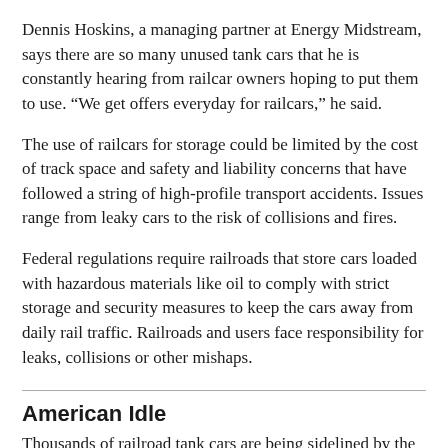Dennis Hoskins, a managing partner at Energy Midstream, says there are so many unused tank cars that he is constantly hearing from railcar owners hoping to put them to use. “We get offers everyday for railcars,” he said.
The use of railcars for storage could be limited by the cost of track space and safety and liability concerns that have followed a string of high-profile transport accidents. Issues range from leaky cars to the risk of collisions and fires.
Federal regulations require railroads that store cars loaded with hazardous materials like oil to comply with strict storage and security measures to keep the cars away from daily rail traffic. Railroads and users face responsibility for leaks, collisions or other mishaps.
American Idle
Thousands of railroad tank cars are being sidelined by the plunge